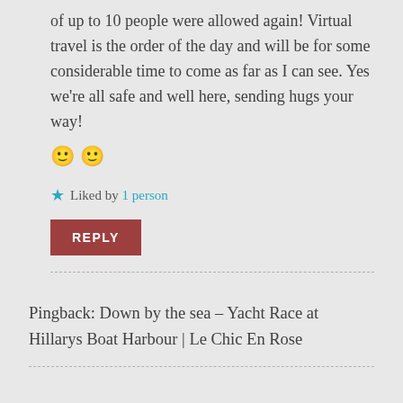of up to 10 people were allowed again! Virtual travel is the order of the day and will be for some considerable time to come as far as I can see. Yes we’re all safe and well here, sending hugs your way! 🙂 🙂
Liked by 1 person
REPLY
Pingback: Down by the sea – Yacht Race at Hillarys Boat Harbour | Le Chic En Rose